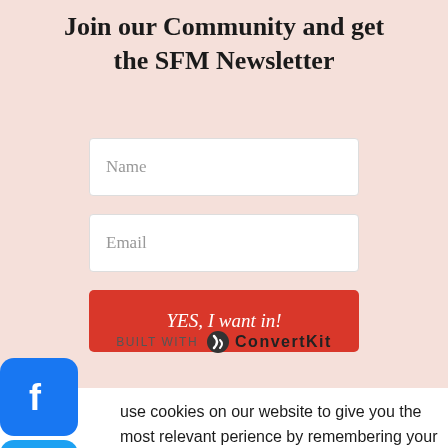Join our Community and get the SFM Newsletter
Name
Email
YES, I want in!
BUILT WITH ConvertKit
[Figure (logo): Facebook logo icon — blue rounded square with white 'f']
[Figure (logo): Twitter logo icon — blue rounded square with white bird]
use cookies on our website to give you the most relevant perience by remembering your preferences and repeat visits. By clicking “Accept”, you consent to the use of ALL the cookies.
ACCEPT